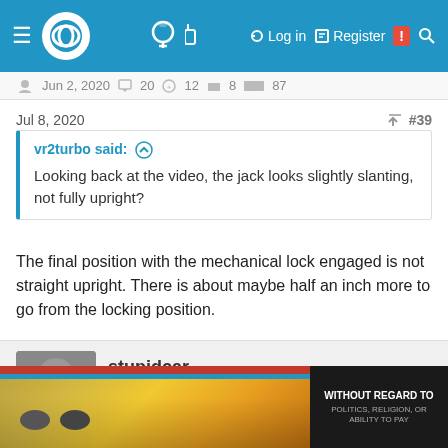Forum navigation bar with logo, lightbulb icon, Log in, Register, and search
Jun 2, 2020  20  12  8  87
Jul 8, 2020  #39
vr2turbo said: ↑

Looking back at the video, the jack looks slightly slanting, not fully upright?
The final position with the mechanical lock engaged is not straight upright. There is about maybe half an inch more to go from the locking position.
stupidcar
5,000 RPM
Mar 18, 2013  5,567  859  713
[Figure (screenshot): Advertisement banner showing cargo airplane with colorful livery and text 'WITHOUT REGARD TO POLITICS, RELIGION, OR ABILITY TO PAY']